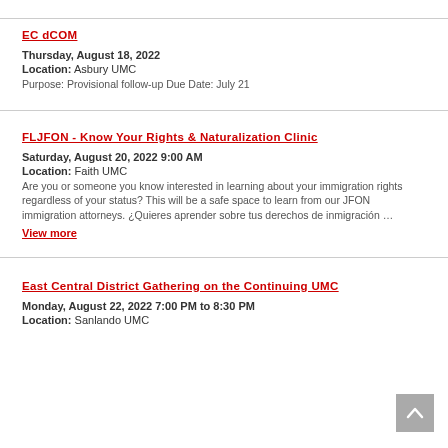EC dCOM
Thursday, August 18, 2022
Location: Asbury UMC
Purpose: Provisional follow-up Due Date: July 21
FLJFON - Know Your Rights & Naturalization Clinic
Saturday, August 20, 2022 9:00 AM
Location: Faith UMC
Are you or someone you know interested in learning about your immigration rights regardless of your status? This will be a safe space to learn from our JFON immigration attorneys. ¿Quieres aprender sobre tus derechos de inmigración …
View more
East Central District Gathering on the Continuing UMC
Monday, August 22, 2022 7:00 PM to 8:30 PM
Location: Sanlando UMC